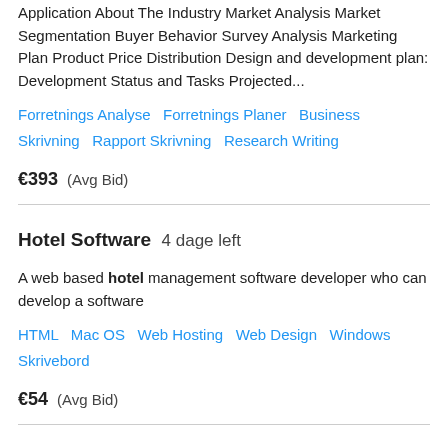Application About The Industry Market Analysis Market Segmentation Buyer Behavior Survey Analysis Marketing Plan Product Price Distribution Design and development plan: Development Status and Tasks Projected...
Forretnings Analyse   Forretnings Planer   Business Skrivning   Rapport Skrivning   Research Writing
€393  (Avg Bid)
Hotel Software  4 dage left
A web based hotel management software developer who can develop a software
HTML   Mac OS   Web Hosting   Web Design   Windows Skrivebord
€54  (Avg Bid)
FORUM ADMIN WANTED + UPGRADE PHPBB TO